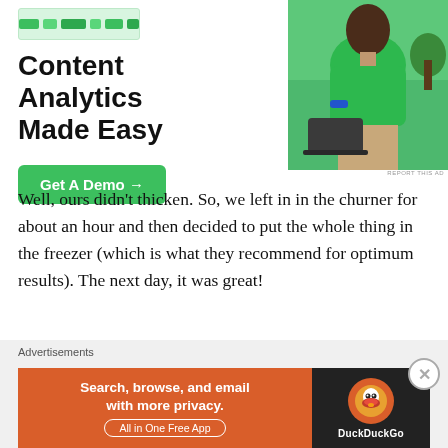[Figure (advertisement): Content Analytics Made Easy ad with a green 'Get A Demo →' button and a woman in a green sweater standing near a laptop. A small tablet/dashboard mockup appears at top.]
Well, ours didn't thicken. So, we left in in the churner for about an hour and then decided to put the whole thing in the freezer (which is what they recommend for optimum results). The next day, it was great!
Peanut Praline:
[Figure (advertisement): DuckDuckGo ad: orange banner reading 'Search, browse, and email with more privacy. All in One Free App' with DuckDuckGo logo on dark right panel. 'Advertisements' label above.]